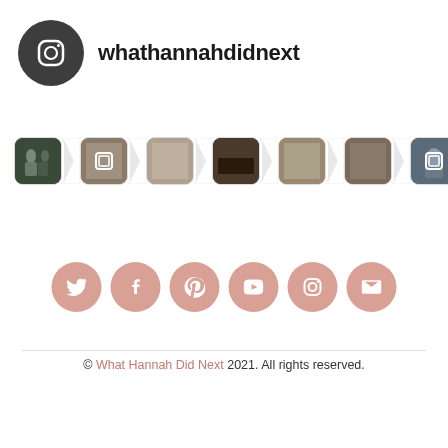[Figure (screenshot): Instagram profile header with dark circle icon containing Instagram logo and username 'whathannahdidnext']
[Figure (screenshot): Instagram feed strip showing a row of photo thumbnails with chevron/arrow separators between them]
[Figure (infographic): Row of 6 rose-pink circular social media icon buttons: Twitter, Facebook, Pinterest, YouTube, Instagram, Email/Envelope]
© What Hannah Did Next 2021. All rights reserved.